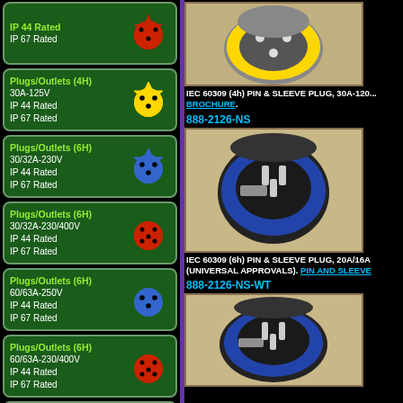Plugs/Outlets (4H) 30A-125V IP 44 Rated IP 67 Rated
Plugs/Outlets (6H) 30/32A-230V IP 44 Rated IP 67 Rated
Plugs/Outlets (6H) 30/32A-230/400V IP 44 Rated IP 67 Rated
Plugs/Outlets (6H) 60/63A-250V IP 44 Rated IP 67 Rated
Plugs/Outlets (6H) 60/63A-230/400V IP 44 Rated IP 67 Rated
Plugs/Outlets (6H) 100/125A-230/400V IP 67 Rated
IEC 60309 (4h) PIN & SLEEVE PLUG, 30A-120... BROCHURE.
888-2126-NS
[Figure (photo): IEC 60309 6h blue pin and sleeve plug, 20A/16A, universal approvals, front view showing pins]
IEC 60309 (6h) PIN & SLEEVE PLUG, 20A/16A (UNIVERSAL APPROVALS). PIN AND SLEEVE...
888-2126-NS-WT
[Figure (photo): IEC 60309 6h blue pin and sleeve plug, white trim version, front view showing pins]